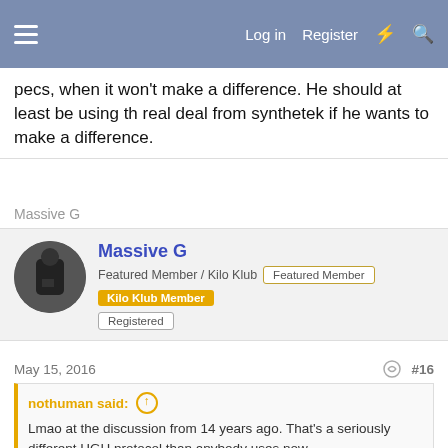Log in  Register
pecs, when it won't make a difference. He should at least be using th real deal from synthetek if he wants to make a difference.
Massive G
Massive G
Featured Member / Kilo Klub  Featured Member  Kilo Klub Member
Registered
May 15, 2016  #16
nothuman said:
Lmao at the discussion from 14 years ago. That's a seriously different HGH protocol than anybody uses now
I understand people laughing at things that they don't understand. Taking large infrequent doses of GH and insulin is the most effective way to take it.